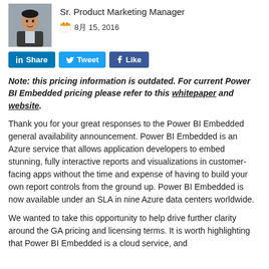[Figure (photo): Headshot photo of a man in a suit]
Sr. Product Marketing Manager
8月 15, 2016
in Share   Tweet   f Like
Note: this pricing information is outdated. For current Power BI Embedded pricing please refer to this whitepaper and website.
Thank you for your great responses to the Power BI Embedded general availability announcement. Power BI Embedded is an Azure service that allows application developers to embed stunning, fully interactive reports and visualizations in customer-facing apps without the time and expense of having to build your own report controls from the ground up. Power BI Embedded is now available under an SLA in nine Azure data centers worldwide.
We wanted to take this opportunity to help drive further clarity around the GA pricing and licensing terms. It is worth highlighting that Power BI Embedded is a cloud service, and